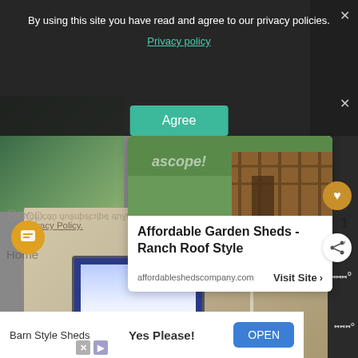By using this site you have read and agree to our privacy policies.
Privacy policy
[Figure (screenshot): Green Agree button on dark modal overlay]
[Figure (photo): Advertisement card for Affordable Garden Sheds showing a garden shed photo]
Affordable Garden Sheds - Ranch Roof Style
affordableshedscompany.com    Visit Site  >
[Figure (photo): Interior room photo showing a TV/monitor screen and lamp, part of a website article]
You can unsubscribe anytime. For more details, review our
Privacy Policy.
Barn Style Sheds    Yes Please!
OPEN